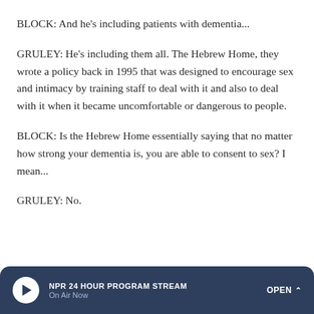BLOCK: And he's including patients with dementia...
GRULEY: He's including them all. The Hebrew Home, they wrote a policy back in 1995 that was designed to encourage sex and intimacy by training staff to deal with it and also to deal with it when it became uncomfortable or dangerous to people.
BLOCK: Is the Hebrew Home essentially saying that no matter how strong your dementia is, you are able to consent to sex? I mean...
GRULEY: No.
NPR 24 HOUR PROGRAM STREAM | On Air Now | OPEN ^